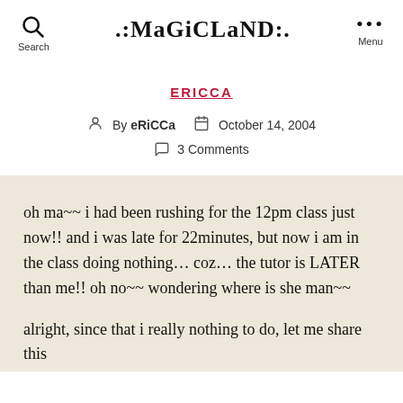.:MaGiCLaND:.
ERICCA
By eRiCCa   October 14, 2004   3 Comments
oh ma~~ i had been rushing for the 12pm class just now!! and i was late for 22minutes, but now i am in the class doing nothing… coz… the tutor is LATER than me!! oh no~~ wondering where is she man~~
alright, since that i really nothing to do, let me share this